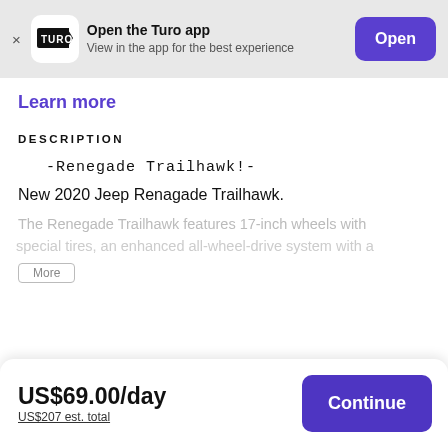Open the Turo app — View in the app for the best experience — Open
Learn more
DESCRIPTION
-Renegade Trailhawk!-
New 2020 Jeep Renagade Trailhawk.
The Renegade Trailhawk features 17-inch wheels with special tires, an enhanced all-wheel-drive system with a
US$69.00/day
US$207 est. total